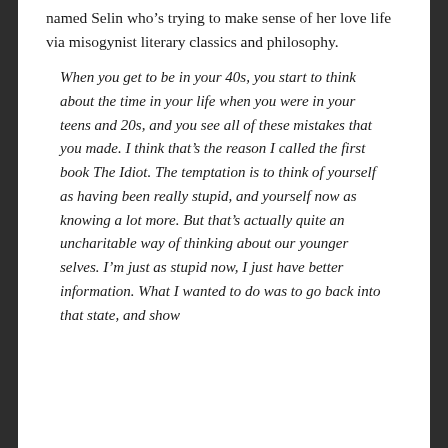named Selin who's trying to make sense of her love life via misogynist literary classics and philosophy.
When you get to be in your 40s, you start to think about the time in your life when you were in your teens and 20s, and you see all of these mistakes that you made. I think that's the reason I called the first book The Idiot. The temptation is to think of yourself as having been really stupid, and yourself now as knowing a lot more. But that's actually quite an uncharitable way of thinking about our younger selves. I'm just as stupid now, I just have better information. What I wanted to do was to go back into that state, and show